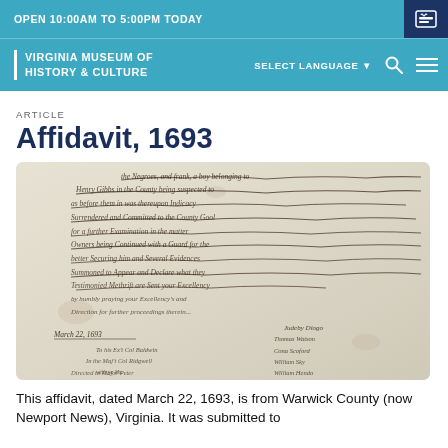OPEN 10:00AM TO 5:00PM TODAY
VIRGINIA MUSEUM OF HISTORY & CULTURE
ARTICLE
Affidavit, 1693
[Figure (photo): Scanned image of a handwritten affidavit dated March 22, 1693 from Warwick County, Virginia. The document shows cursive handwriting in brown/black ink on aged parchment paper. Text includes date 'March 22, 1693' and multiple signatures.]
This affidavit, dated March 22, 1693, is from Warwick County (now Newport News), Virginia. It was submitted to